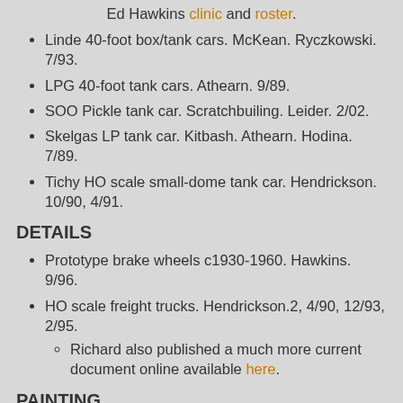Ed Hawkins clinic and roster.
Linde 40-foot box/tank cars. McKean. Ryczkowski. 7/93.
LPG 40-foot tank cars. Athearn. 9/89.
SOO Pickle tank car. Scratchbuiling. Leider. 2/02.
Skelgas LP tank car. Kitbash. Athearn. Hodina. 7/89.
Tichy HO scale small-dome tank car. Hendrickson. 10/90, 4/91.
DETAILS
Prototype brake wheels c1930-1960. Hawkins. 9/96.
HO scale freight trucks. Hendrickson.2, 4/90, 12/93, 2/95.
Richard also published a much more current document online available here.
PAINTING